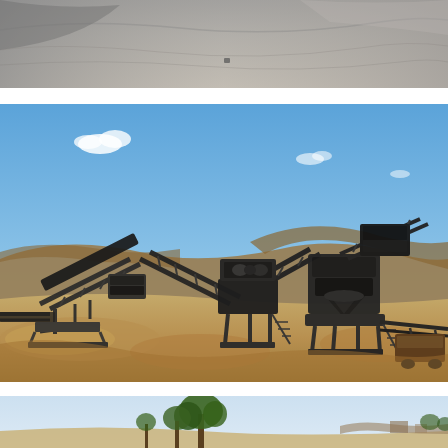[Figure (photo): Aerial or close-up view of a grey/dusty mining area or stockpile, showing barren terrain with grey material, partially visible at the top of the page.]
[Figure (photo): Wide-angle photograph of a mining crushing and screening plant in an arid, open landscape. Multiple conveyor belts are arranged in an X-pattern with crusher/screening equipment in the center-right. The setting shows a blue sky, rolling brown hills, and sandy ground with stockpiles of crushed material.]
[Figure (photo): Partial view of a third photograph at the bottom of the page, showing trees (green foliage) against a light sky, with additional landscape or facility elements partially visible at the bottom right.]